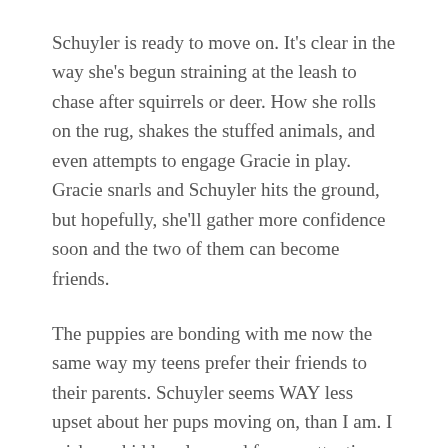Schuyler is ready to move on. It's clear in the way she's begun straining at the leash to chase after squirrels or deer. How she rolls on the rug, shakes the stuffed animals, and even attempts to engage Gracie in play. Gracie snarls and Schuyler hits the ground, but hopefully, she'll gather more confidence soon and the two of them can become friends.
The puppies are bonding with me now the same way my teens prefer their friends to their parents. Schuyler seems WAY less upset about her pups moving on, than I am. I wish my kiddos clamored for my attention, the way Schuy's pups whine for her.
At the same time, I'm really proud that my kiddos need me so little. Last week, Addie (my 16-year-old) drove herself to the metro station in Silver Spring, rode the train into DC, visited American University, met up with friends, rode the